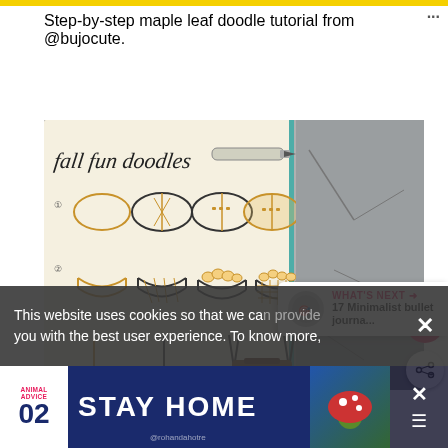Step-by-step maple leaf doodle tutorial from @bujocute.
[Figure (photo): A photograph showing a bullet journal open to a 'fall fun doodles' page with step-by-step drawings of footballs, bowls/baskets, and other fall items drawn in orange and black ink, alongside a pen. The journal is placed on a gray stone surface.]
This website uses cookies so that we can provide you with the best user experience. To know more,
WHAT'S NEXT → 17 Minimalist bullet journa...
ANIMAL ADVICE 02 STAY HOME @rohandahotre